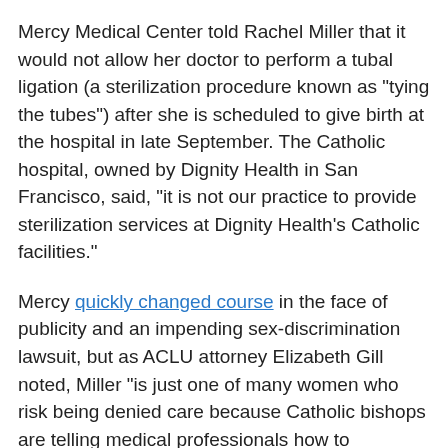Mercy Medical Center told Rachel Miller that it would not allow her doctor to perform a tubal ligation (a sterilization procedure known as "tying the tubes") after she is scheduled to give birth at the hospital in late September. The Catholic hospital, owned by Dignity Health in San Francisco, said, "it is not our practice to provide sterilization services at Dignity Health's Catholic facilities."
Mercy quickly changed course in the face of publicity and an impending sex-discrimination lawsuit, but as ACLU attorney Elizabeth Gill noted, Miller "is just one of many women who risk being denied care because Catholic bishops are telling medical professionals how to operate." Mercy's general counsel admitted withholding pregnancy-related care could amount to sex discrimination under California law, but emphasized the hospital would never "violate the (Ethical and Religious Directives) and repudiate (the hospital's) Catholic identity."